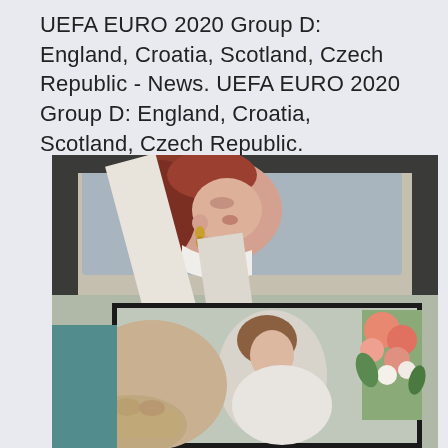UEFA EURO 2020 Group D: England, Croatia, Scotland, Czech Republic - News. UEFA EURO 2020 Group D: England, Croatia, Scotland, Czech Republic.
[Figure (photo): A photograph showing a woman with red hair and gold drop earrings looking upward through a car window, reflected in a mirror, with a wedding bouquet of pink and white flowers visible on the right side.]